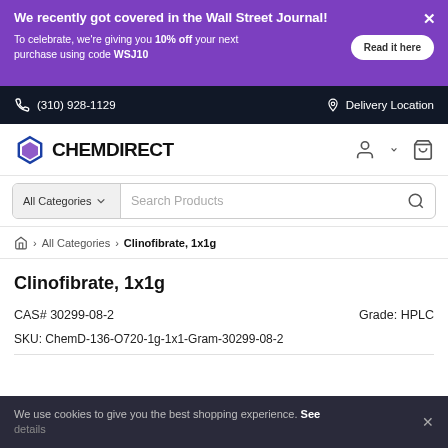We recently got covered in the Wall Street Journal!
To celebrate, we're giving you 10% off your next purchase using code WSJ10
(310) 928-1129   Delivery Location
[Figure (logo): ChemDirect logo with hexagon icon and bold text]
All Categories   Search Products
All Categories > Clinofibrate, 1x1g
Clinofibrate, 1x1g
CAS# 30299-08-2   Grade: HPLC
SKU: ChemD-136-O720-1g-1x1-Gram-30299-08-2
We use cookies to give you the best shopping experience. See details